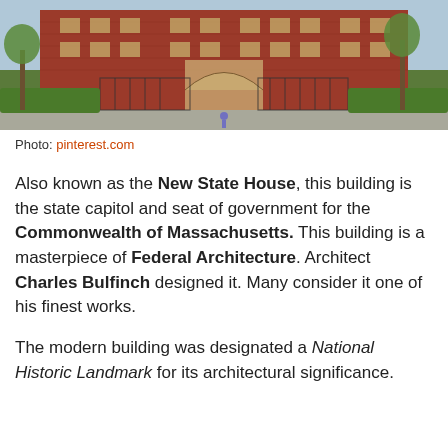[Figure (photo): Photograph of the Massachusetts State House (New State House), a large red brick building with iron gates and green hedges in front, seen from street level.]
Photo: pinterest.com
Also known as the New State House, this building is the state capitol and seat of government for the Commonwealth of Massachusetts. This building is a masterpiece of Federal Architecture. Architect Charles Bulfinch designed it. Many consider it one of his finest works.
The modern building was designated a National Historic Landmark for its architectural significance.